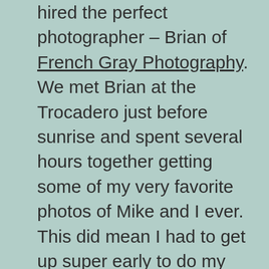hired the perfect photographer – Brian of French Gray Photography. We met Brian at the Trocadero just before sunrise and spent several hours together getting some of my very favorite photos of Mike and I ever. This did mean I had to get up super early to do my hair and makeup and we took at taxi there. I honestly didn't want to get on the metro with a full on evening gown. We started  photos with the Eiffel tower in the background then headed over by the Louvre to do some more photos. Such an amazing experience and I can't recommend Brian